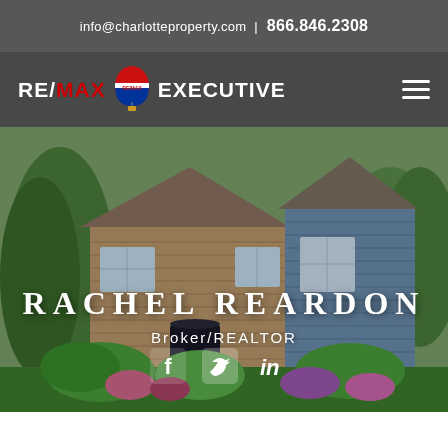info@charlotteproperty.com | 866.846.2308
[Figure (logo): RE/MAX Executive logo with red/blue balloon icon and white text on dark gray navigation bar]
[Figure (photo): Hero photo of a residential home with brick exterior, blue siding, lush green shrubs and colorful garden flowers]
RACHEL REARDON
Broker/REALTOR
[Figure (infographic): Social media icons: Facebook, Twitter, LinkedIn displayed in white on hero image]